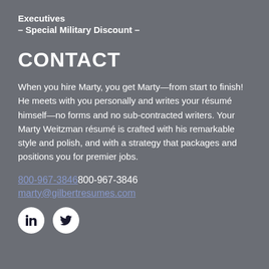Executives
– Special Military Discount –
CONTACT
When you hire Marty, you get Marty—from start to finish! He meets with you personally and writes your résumé himself—no forms and no sub-contracted writers. Your Marty Weitzman résumé is crafted with his remarkable style and polish, and with a strategy that packages and positions you for premier jobs.
800-967-3846800-967-3846
marty@gilbertresumes.com
[Figure (illustration): LinkedIn and Twitter social media icons as white circles on grey background]